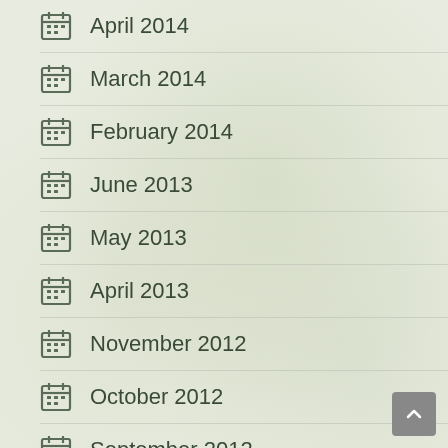April 2014
March 2014
February 2014
June 2013
May 2013
April 2013
November 2012
October 2012
September 2012
July 2012
June 2012